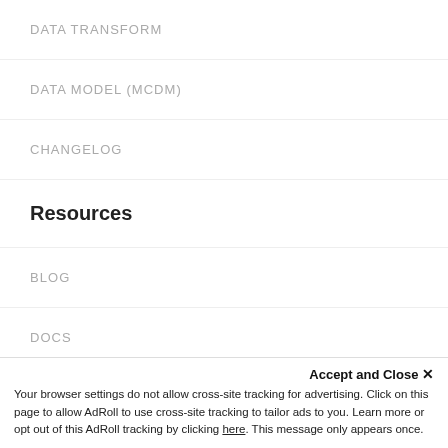DATA TRANSFORM
DATA MODEL (MCDM)
CHANGELOG
Resources
BLOG
DOCS
Accept and Close ✕
Your browser settings do not allow cross-site tracking for advertising. Click on this page to allow AdRoll to use cross-site tracking to tailor ads to you. Learn more or opt out of this AdRoll tracking by clicking here. This message only appears once.